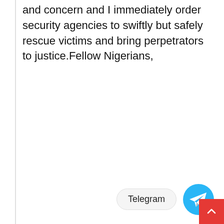and concern and I immediately order security agencies to swiftly but safely rescue victims and bring perpetrators to justice.Fellow Nigerians,
[Figure (logo): Telegram button with Telegram paper-plane logo icon and a red scroll-to-top button]